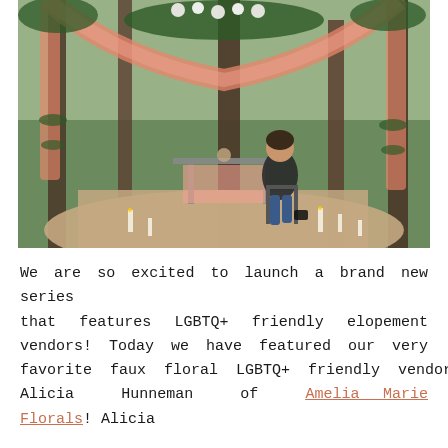[Figure (photo): A woman sitting on a chair in a forest outdoor wedding setup with a coral/pink draped arch structure decorated with greenery and white flowers, candles on the ground, and trees in the background.]
We are so excited to launch a brand new series that features LGBTQ+ friendly elopement vendors! Today we have featured our very favorite faux floral LGBTQ+ friendly vendor, Alicia Hunneman of Amelia Marie Florals! Alicia